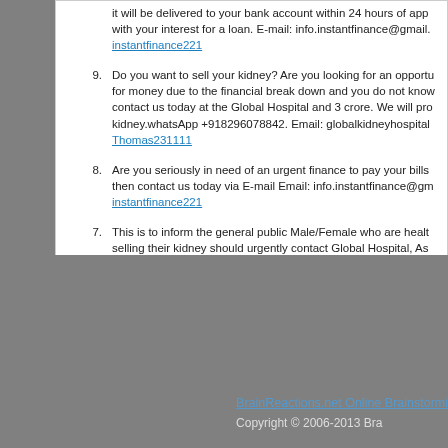it will be delivered to your bank account within 24 hours of app with your interest for a loan. E-mail: info.instantfinance@gmail instantfinance221
9. Do you want to sell your kidney? Are you looking for an opportu for money due to the financial break down and you do not know contact us today at the Global Hospital and 3 crore. We will pro kidney.whatsApp +918296078842. Email: globalkidneyhospital Thomas231111
8. Are you seriously in need of an urgent finance to pay your bills then contact us today via E-mail Email: info.instantfinance@gm instantfinance221
7. This is to inform the general public Male/Female who are healt selling their kidney should urgently contact Global Hospital, As who are here for kidney transplant, Our hospital is specialized i transplant and other major treatments.whatsApp +91829607888 globalkidneyhospital@gmail.com candi33333
6. APPLY FOR PERSONAL/BUSINESS LOAN AT LOW INTERES kibidilly
BrainReactions.net Online Brainstormi Copyright © 2006-2013 Bra